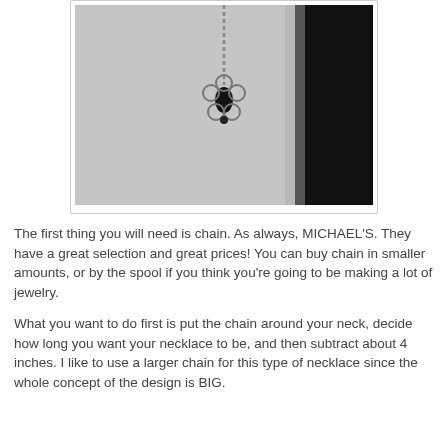[Figure (photo): Black and white photo of a handmade flower-shaped necklace pendant hanging from a chain against a light gray and dark background.]
The first thing you will need is chain. As always, MICHAEL'S. They have a great selection and great prices! You can buy chain in smaller amounts, or by the spool if you think you're going to be making a lot of jewelry.
What you want to do first is put the chain around your neck, decide how long you want your necklace to be, and then subtract about 4 inches. I like to use a larger chain for this type of necklace since the whole concept of the design is BIG.